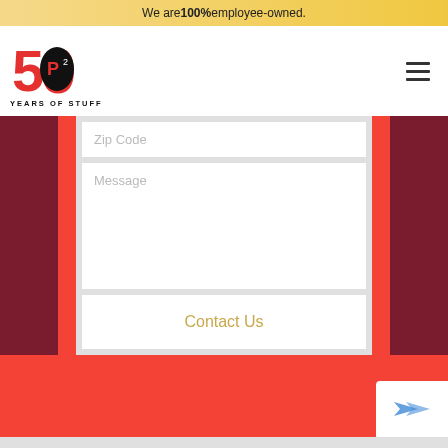We are 100% employee-owned.
[Figure (logo): P-squared logo with '50 YEARS OF STUFF' text. Red numeral 50 with a black oval containing P-squared symbol.]
[Figure (other): Hamburger menu icon (three horizontal lines)]
Zip Code
Message
Contact Us
[Figure (other): Chat/support bubble icon in bottom right corner, white background with blue bird/arrow icon]